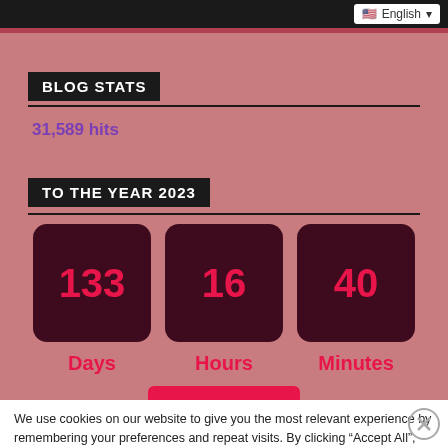English
BLOG STATS
31,589 hits
TO THE YEAR 2023
[Figure (infographic): Countdown timer showing 133 Days, 16 Hours, 40 Minutes to the year 2023]
We use cookies on our website to give you the most relevant experience by remembering your preferences and repeat visits. By clicking “Accept All”, you consent to the use of ALL the cookies. However, you may visit "Cookie Settings" to provide a controlled consent.
Advertisements